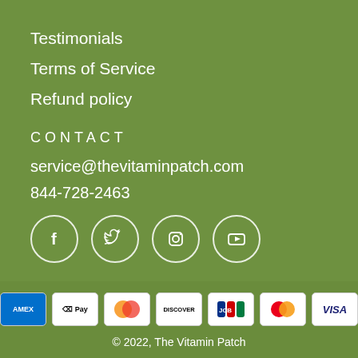Testimonials
Terms of Service
Refund policy
CONTACT
service@thevitaminpatch.com
844-728-2463
[Figure (infographic): Social media icons in white circles: Facebook, Twitter, Instagram, YouTube]
[Figure (infographic): Payment method logos: AMEX, Apple Pay, Diners Club, Discover, JCB, Mastercard, Visa]
© 2022, The Vitamin Patch